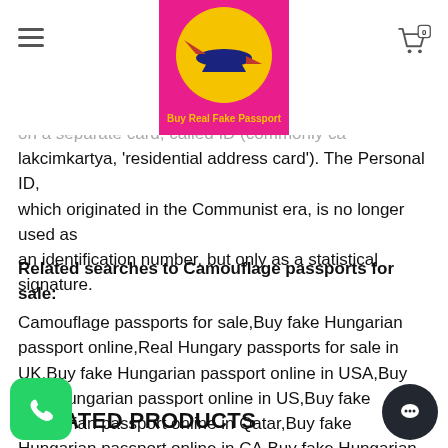Buy Real Fake Passport — navigation header with logo and cart
for their Personal ID — information is contained on a separate card, called Residential ID (commonly called lakcimkartya, 'residential address card'). The Personal ID, which originated in the Communist era, is no longer used as an identification number, but only as a statistical signature.
Related searches to Camouflage passports for sale: Camouflage passports for sale,Buy fake Hungarian passport online,Real Hungary passports for sale in UK,Buy fake Hungarian passport online in USA,Buy fake Hungarian passport online in US,Buy fake Hungarian passport online in Qatar,Buy fake Hungarian passport online in CA,Buy fake Hungarian passport online NY,Buy fake Hungarian passport online in Victoria
RELATED PRODUCTS